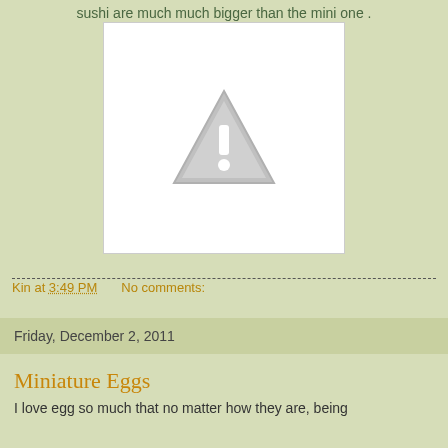sushi are much much bigger than the mini one .
[Figure (other): Broken/unavailable image placeholder with a grey triangle warning icon containing an exclamation mark on a white background]
Kin at 3:49 PM    No comments:
Friday, December 2, 2011
Miniature Eggs
I love egg so much that no matter how they are, being